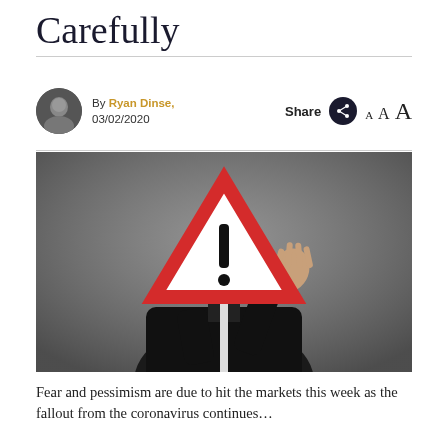Carefully
By Ryan Dinse, 03/02/2020
[Figure (photo): Person in suit holding a red warning triangle sign (exclamation mark) in front of their face, with one hand raised in a stop gesture, against a grey background.]
Fear and pessimism are due to hit the markets this week as the fallout from the coronavirus continues…